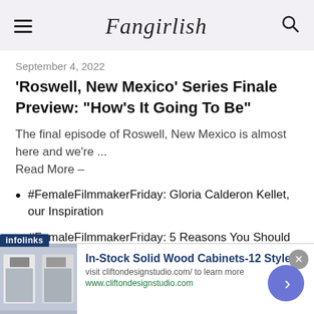Fangirlish
September 4, 2022
'Roswell, New Mexico' Series Finale Preview: “How’s It Going To Be”
The final episode of Roswell, New Mexico is almost here and we’re ...
Read More –
#FemaleFilmmakerFriday: Gloria Calderon Kellet, our Inspiration
#FemaleFilmmakerFriday: 5 Reasons You Should Know Cheryl Dunye
[Figure (infographic): Infolinks advertisement banner for In-Stock Solid Wood Cabinets-12 Styles by cliftondesignstudio.com]
In-Stock Solid Wood Cabinets-12 Styles!
visit cliftondesignstudio.com/ to learn more
www.cliftondesignstudio.com